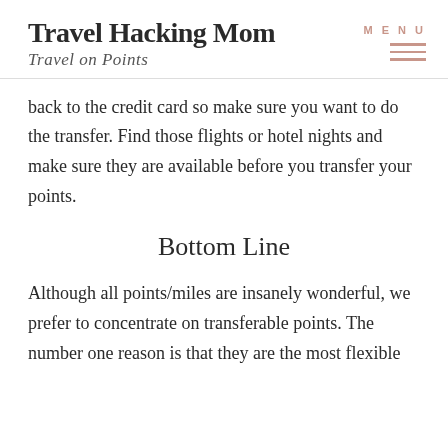Travel Hacking Mom Travel on Points MENU
back to the credit card so make sure you want to do the transfer. Find those flights or hotel nights and make sure they are available before you transfer your points.
Bottom Line
Although all points/miles are insanely wonderful, we prefer to concentrate on transferable points. The number one reason is that they are the most flexible